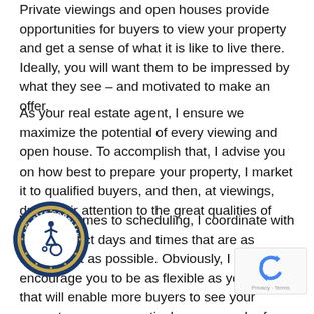Private viewings and open houses provide opportunities for buyers to view your property and get a sense of what it is like to live there. Ideally, you will want them to be impressed by what they see – and motivated to make an offer.
As your real estate agent, I ensure we maximize the potential of every viewing and open house. To accomplish that, I advise you on how best to prepare your property, I market it to qualified buyers, and then, at viewings, draw their attention to the great qualities of your house.
When it comes to scheduling, I coordinate with you to select days and times that are as convenient as possible. Obviously, I encourage you to be as flexible as you can, as that will enable more buyers to see your property. [weekends] in particular, are popular for viewings. [Don't worry] about all the details. I take care of all asp[ects of] scheduling viewings, as well as planning and hosting open
[Figure (logo): ADA Site Compliance badge — circular seal with blue/gold border, wheelchair accessibility icon in the center, text 'ADA SITE COMPLIANCE' around the edge with stars]
[Figure (logo): Google reCAPTCHA badge with recycle-arrow logo and 'Privacy · Terms' text]